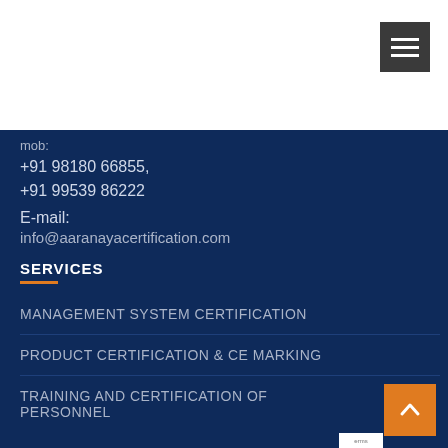[Figure (other): Hamburger menu button — dark gray square with three white horizontal lines]
mob:
+91 98180 66855,
+91 99539 86222
E-mail:
info@aaranayacertification.com
SERVICES
MANAGEMENT SYSTEM CERTIFICATION
PRODUCT CERTIFICATION & CE MARKING
TRAINING AND CERTIFICATION OF PERSONNEL